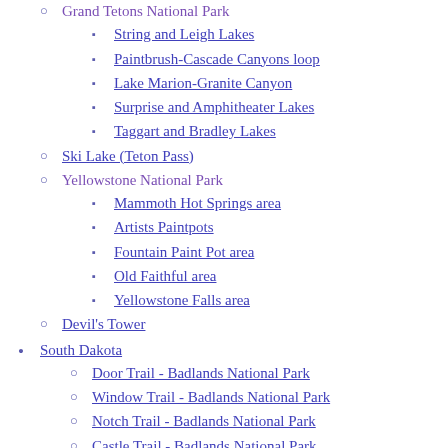Grand Tetons National Park
String and Leigh Lakes
Paintbrush-Cascade Canyons loop
Lake Marion-Granite Canyon
Surprise and Amphitheater Lakes
Taggart and Bradley Lakes
Ski Lake (Teton Pass)
Yellowstone National Park
Mammoth Hot Springs area
Artists Paintpots
Fountain Paint Pot area
Old Faithful area
Yellowstone Falls area
Devil's Tower
South Dakota
Door Trail - Badlands National Park
Window Trail - Badlands National Park
Notch Trail - Badlands National Park
Castle Trail - Badlands National Park
Cliff Notch Trail - Badlands National Park
Saddle Pass Trail - Badlands National Park
Fossil Exhibit Trail - Badlands National Park
Harney Peak - Custer State Park
Montana
Glacier National Park